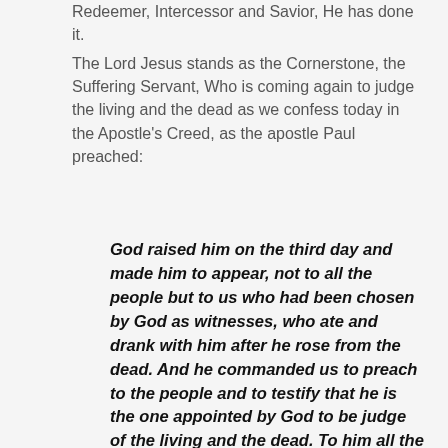Redeemer, Intercessor and Savior, He has done it.
The Lord Jesus stands as the Cornerstone, the Suffering Servant, Who is coming again to judge the living and the dead as we confess today in the Apostle's Creed, as the apostle Paul preached:
God raised him on the third day and made him to appear, not to all the people but to us who had been chosen by God as witnesses, who ate and drank with him after he rose from the dead. And he commanded us to preach to the people and to testify that he is the one appointed by God to be judge of the living and the dead. To him all the prophets bear witness that everyone who believes in him